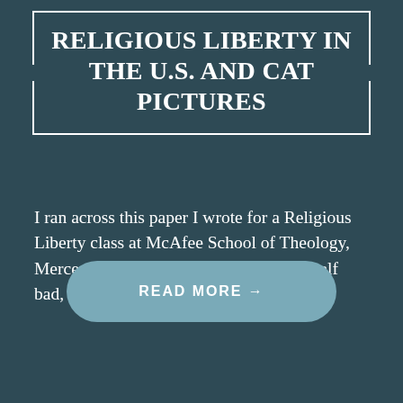RELIGIOUS LIBERTY IN THE U.S. AND CAT PICTURES
I ran across this paper I wrote for a Religious Liberty class at McAfee School of Theology, Mercer University. I didn’t think it was half bad, so…
READ MORE →